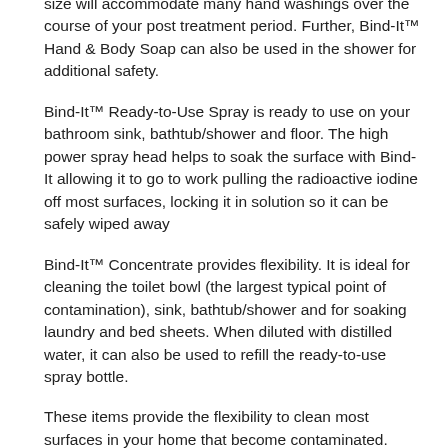washroom and touch already contaminated objects. You need to wash your hands frequently. The 8 ounce size will accommodate many hand washings over the course of your post treatment period. Further, Bind-It™ Hand & Body Soap can also be used in the shower for additional safety.
Bind-It™ Ready-to-Use Spray is ready to use on your bathroom sink, bathtub/shower and floor. The high power spray head helps to soak the surface with Bind-It allowing it to go to work pulling the radioactive iodine off most surfaces, locking it in solution so it can be safely wiped away
Bind-It™ Concentrate provides flexibility. It is ideal for cleaning the toilet bowl (the largest typical point of contamination), sink, bathtub/shower and for soaking laundry and bed sheets. When diluted with distilled water, it can also be used to refill the ready-to-use spray bottle.
These items provide the flexibility to clean most surfaces in your home that become contaminated. Detailed instructions for use are included with all orders. The instructions detail what to clean around your home. Iodine is a very reactive element that can end up in some unlikely spots – even attaching to dust particles or becoming airborne. Proper use of Bind-It can minimize second hand exposure to family.